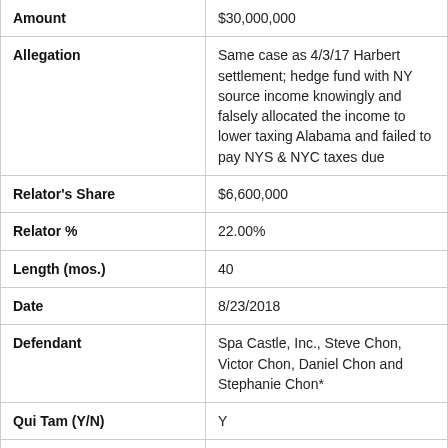| Field | Value |
| --- | --- |
| Amount | $30,000,000 |
| Allegation | Same case as 4/3/17 Harbert settlement; hedge fund with NY source income knowingly and falsely allocated the income to lower taxing Alabama and failed to pay NYS & NYC taxes due |
| Relator's Share | $6,600,000 |
| Relator % | 22.00% |
| Length (mos.) | 40 |
| Date | 8/23/2018 |
| Defendant | Spa Castle, Inc., Steve Chon, Victor Chon, Daniel Chon and Stephanie Chon* |
| Qui Tam (Y/N) | Y |
| Declined (Y/N) | N |